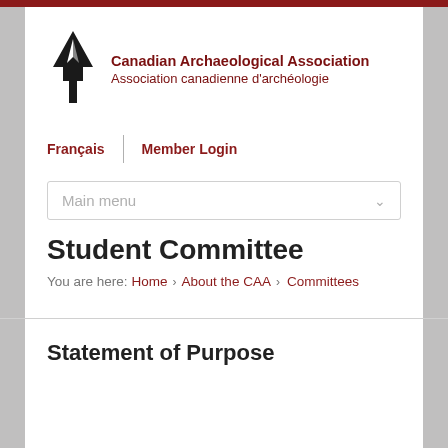[Figure (logo): Canadian Archaeological Association logo: black stylized arrowhead/spear point symbol]
Canadian Archaeological Association
Association canadienne d'archéologie
Français | Member Login
Main menu
Student Committee
You are here: Home > About the CAA > Committees
Statement of Purpose